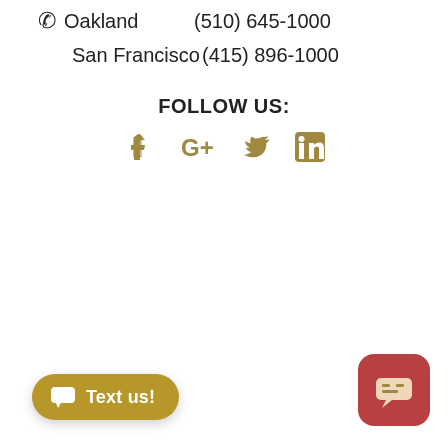Oakland  (510) 645-1000
San Francisco  (415) 896-1000
FOLLOW US:
[Figure (illustration): Social media icons: Facebook, Google+, Twitter, LinkedIn in golden/tan color]
[Figure (illustration): Gold rounded pill button with chat icon and text 'Text us!']
[Figure (illustration): Red rounded square app icon with speech bubble logo]